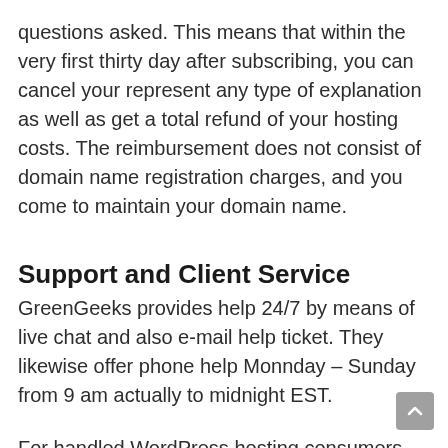questions asked. This means that within the very first thirty day after subscribing, you can cancel your represent any type of explanation as well as get a total refund of your hosting costs. The reimbursement does not consist of domain name registration charges, and you come to maintain your domain name.
Support and Client Service
GreenGeeks provides help 24/7 by means of live chat and also e-mail help ticket. They likewise offer phone help Monnday – Sunday from 9 am actually to midnight EST.
For handled WordPress hosting consumers, there are